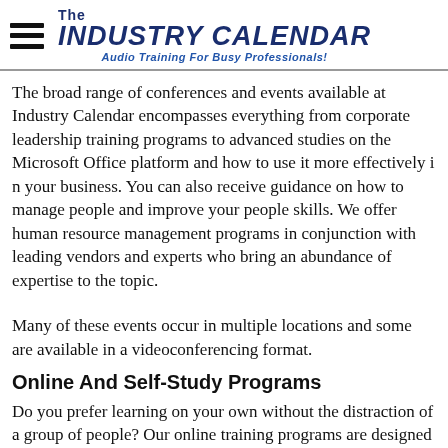The Industry Calendar — Audio Training For Busy Professionals!
The broad range of conferences and events available at Industry Calendar encompasses everything from corporate leadership training programs to advanced studies on the Microsoft Office platform and how to use it more effectively in your business. You can also receive guidance on how to manage people and improve your people skills. We offer human resource management programs in conjunction with leading vendors and experts who bring an abundance of expertise to the topic.
Many of these events occur in multiple locations and some are available in a videoconferencing format.
Online And Self-Study Programs
Do you prefer learning on your own without the distraction of a group of people? Our online training programs are designed for who gets the best results from a self-directed learn